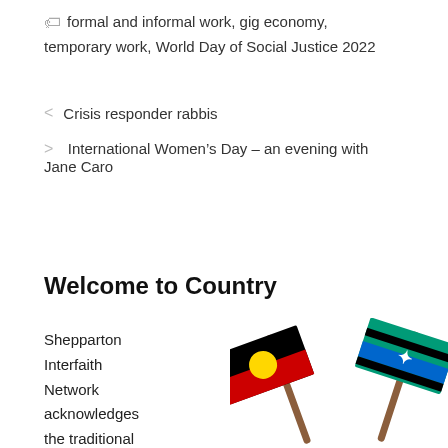formal and informal work, gig economy, temporary work, World Day of Social Justice 2022
< Crisis responder rabbis
> International Women's Day – an evening with Jane Caro
Welcome to Country
Shepparton Interfaith Network acknowledges the traditional